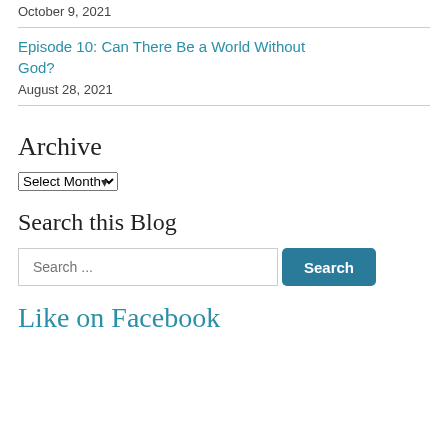October 9, 2021
Episode 10: Can There Be a World Without God?
August 28, 2021
Archive
Select Month
Search this Blog
Search ...
Like on Facebook